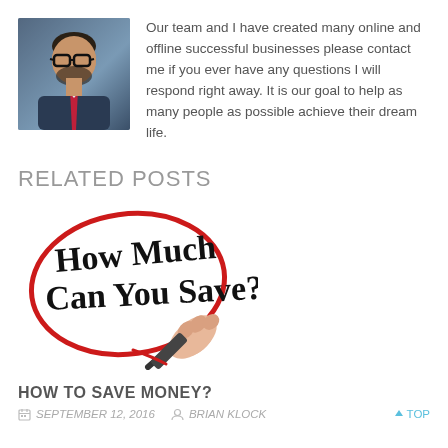Our team and I have created many online and offline successful businesses please contact me if you ever have any questions I will respond right away. It is our goal to help as many people as possible achieve their dream life.
RELATED POSTS
[Figure (illustration): Image of a hand writing 'How Much Can You Save?' in handwritten text, circled in red marker on a whiteboard or glass surface.]
HOW TO SAVE MONEY?
SEPTEMBER 12, 2016   BRIAN KLOCK   ↑ TOP